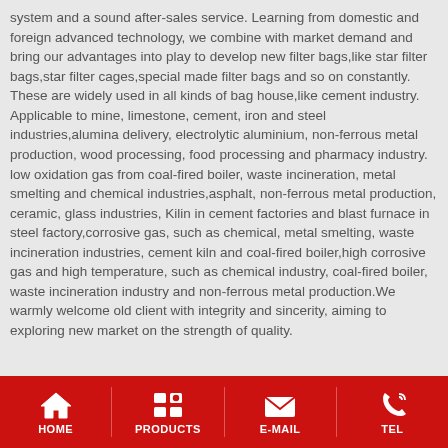system and a sound after-sales service. Learning from domestic and foreign advanced technology, we combine with market demand and bring our advantages into play to develop new filter bags,like star filter bags,star filter cages,special made filter bags and so on constantly. These are widely used in all kinds of bag house,like cement industry. Applicable to mine, limestone, cement, iron and steel industries,alumina delivery, electrolytic aluminium, non-ferrous metal production, wood processing, food processing and pharmacy industry. low oxidation gas from coal-fired boiler, waste incineration, metal smelting and chemical industries,asphalt, non-ferrous metal production, ceramic, glass industries, Kilin in cement factories and blast furnace in steel factory,corrosive gas, such as chemical, metal smelting, waste incineration industries, cement kiln and coal-fired boiler,high corrosive gas and high temperature, such as chemical industry, coal-fired boiler, waste incineration industry and non-ferrous metal production.We warmly welcome old client with integrity and sincerity, aiming to exploring new market on the strength of quality.
HOME | PRODUCTS | E-MAIL | TEL